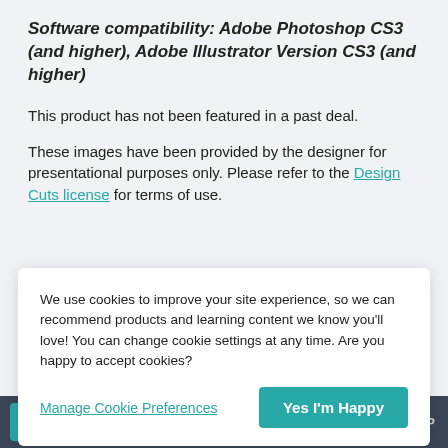Software compatibility: Adobe Photoshop CS3 (and higher), Adobe Illustrator Version CS3 (and higher)
This product has not been featured in a past deal.
These images have been provided by the designer for presentational purposes only. Please refer to the Design Cuts license for terms of use.
We use cookies to improve your site experience, so we can recommend products and learning content we know you'll love! You can change cookie settings at any time. Are you happy to accept cookies?
Manage Cookie Preferences | Yes I'm Happy